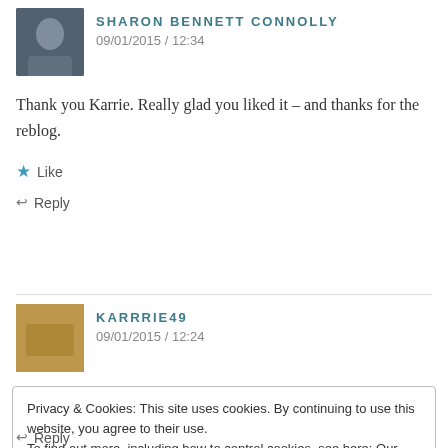SHARON BENNETT CONNOLLY
09/01/2015 / 12:34
Thank you Karrie. Really glad you liked it – and thanks for the reblog.
★ Like
↩ Reply
KARRRIE49
09/01/2015 / 12:24
Privacy & Cookies: This site uses cookies. By continuing to use this website, you agree to their use.
To find out more, including how to control cookies, see here: Our Cookie Policy
Close and accept
↩ Reply